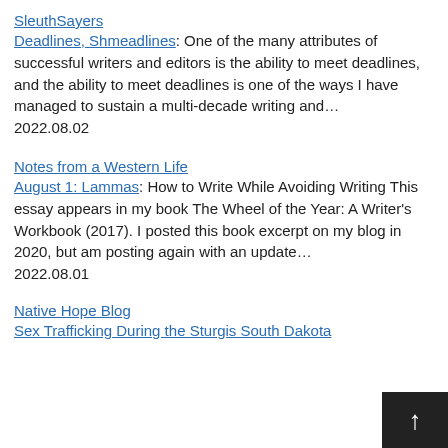SleuthSayers
Deadlines, Shmeadlines: One of the many attributes of successful writers and editors is the ability to meet deadlines, and the ability to meet deadlines is one of the ways I have managed to sustain a multi-decade writing and…
2022.08.02
Notes from a Western Life
August 1: Lammas: How to Write While Avoiding Writing This essay appears in my book The Wheel of the Year: A Writer's Workbook (2017). I posted this book excerpt on my blog in 2020, but am posting again with an update…
2022.08.01
Native Hope Blog
Sex Trafficking During the Sturgis South Dakota